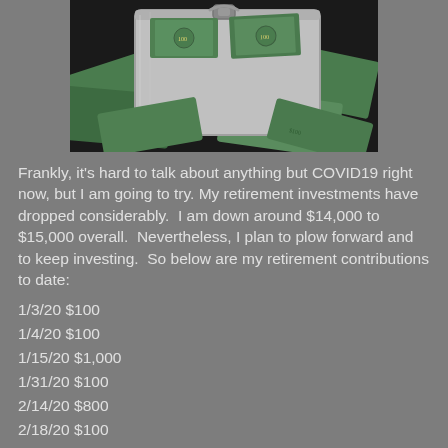[Figure (photo): A metal briefcase overflowing with stacks of $100 dollar bills, with more bills scattered around it on a dark surface.]
Frankly, it's hard to talk about anything but COVID19 right now, but I am going to try. My retirement investments have dropped considerably.  I am down around $14,000 to $15,000 overall.  Nevertheless, I plan to plow forward and to keep investing.  So below are my retirement contributions to date:
1/3/20 $100
1/4/20 $100
1/15/20 $1,000
1/31/20 $100
2/14/20 $800
2/18/20 $100
2/27/20 $100